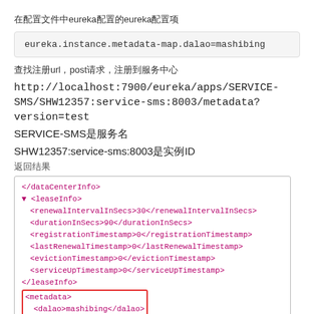在配置文件中eureka配置的eureka配置项
eureka.instance.metadata-map.dalao=mashibing
查找注册url，post请求，注册到服务中心
http://localhost:7900/eureka/apps/SERVICE-SMS/SHW12357:service-sms:8003/metadata?version=test
SERVICE-SMS是服务名
SHW12357:service-sms:8003是实例ID
返回结果
[Figure (screenshot): XML response showing leaseInfo and metadata elements including dalao=mashibing]